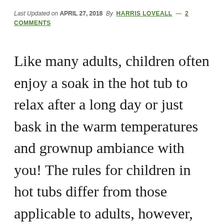Last Updated on APRIL 27, 2018 By HARRIS LOVEALL — 2 COMMENTS
Like many adults, children often enjoy a soak in the hot tub to relax after a long day or just bask in the warm temperatures and grownup ambiance with you! The rules for children in hot tubs differ from those applicable to adults, however, because of their different size and age. Though adults can enjoy longer soaks, kids can be in danger if you allow them to stay in the hot tub for as long